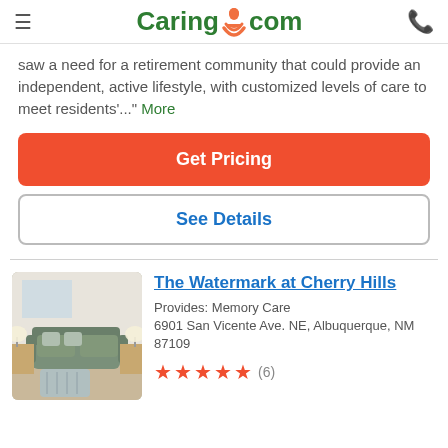Caring.com
saw a need for a retirement community that could provide an independent, active lifestyle, with customized levels of care to meet residents'..." More
Get Pricing
See Details
The Watermark at Cherry Hills
Provides: Memory Care
6901 San Vicente Ave. NE, Albuquerque, NM 87109
★★★★★ (6)